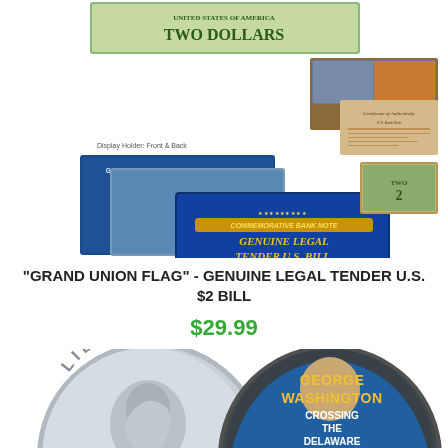[Figure (photo): Product image showing 'Grand Union Flag' $2 bill collectible with display holder front and back, certificate of authenticity, and commemorative bank note packaging]
"GRAND UNION FLAG" - GENUINE LEGAL TENDER U.S. $2 BILL
$29.99
[Figure (photo): Product image showing two coins - left coin showing Liberty quarter obverse, right coin showing George Washington Crossing the Delaware colorized design]